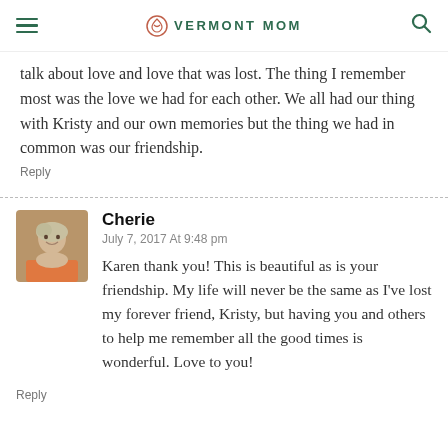VERMONT MOM
talk about love and love that was lost. The thing I remember most was the love we had for each other. We all had our thing with Kristy and our own memories but the thing we had in common was our friendship.
Reply
[Figure (photo): Avatar photo of Cherie, a woman with short blonde/gray hair smiling outdoors]
Cherie
July 7, 2017 At 9:48 pm
Karen thank you! This is beautiful as is your friendship. My life will never be the same as I've lost my forever friend, Kristy, but having you and others to help me remember all the good times is wonderful. Love to you!
Reply